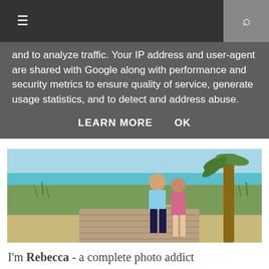☰   🔍
and to analyze traffic. Your IP address and user-agent are shared with Google along with performance and security metrics to ensure quality of service, generate usage statistics, and to detect and address abuse.
LEARN MORE   OK
[Figure (photo): A couple standing on a wooden boardwalk near a beach with sea grass and a palm tree, tropical turquoise ocean in background]
I'm Rebecca - a complete photo addict and blogger with a passion for interior design,